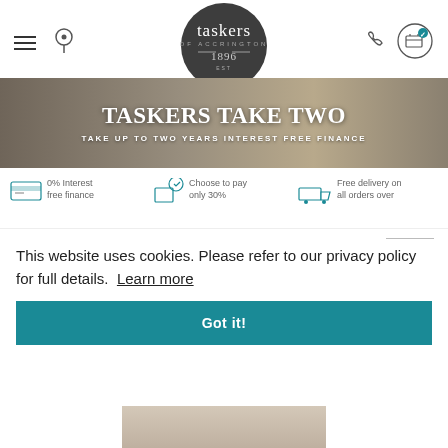[Figure (logo): Taskers of Accrington logo - dark circle with brand name and est. 1896]
[Figure (screenshot): Website screenshot showing Taskers of Accrington with navigation header, banner, features, and cookie consent overlay]
TASKERS TAKE TWO
TAKE UP TO TWO YEARS INTEREST FREE FINANCE
0% Interest free finance
Choose to pay only 30%
Free delivery on all orders over
This website uses cookies. Please refer to our privacy policy for full details. Learn more
Got it!